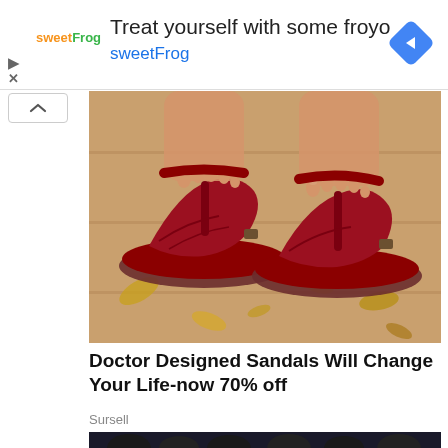[Figure (screenshot): sweetFrog frozen yogurt advertisement banner with logo, headline 'Treat yourself with some froyo', subtext 'sweetFrog', and blue diamond arrow icon on right]
[Figure (photo): Close-up photo of a woman's feet wearing dark red/maroon flat sandals with toe-post and strap design, on a wooden surface with autumn leaves]
Doctor Designed Sandals Will Change Your Life-now 70% off
Sursell
[Figure (photo): Partial photo of people in dark suits seated at a formal event or meeting, with a red circle highlighting one person in the foreground]